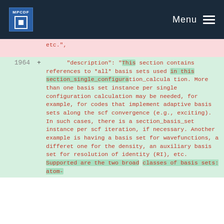MPCDF Menu
etc.",
1964  +      "description": "This section contains references to *all* basis sets used in this section_single_configuration_calculation. More than one basis set instance per single configuration calculation may be needed, for example, for codes that implement adaptive basis sets along the scf convergence (e.g., exciting). In such cases, there is a section_basis_set instance per scf iteration, if necessary. Another example is having a basis set for wavefunctions, a differet one for the density, an auxiliary basis set for resolution of identity (RI), etc. Supported are the two broad classes of basis sets; atom-